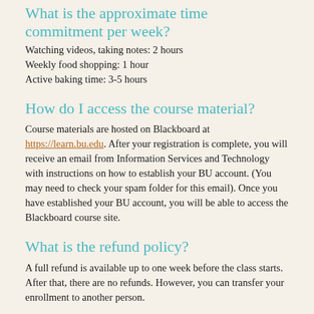What is the approximate time commitment per week?
Watching videos, taking notes: 2 hours
Weekly food shopping: 1 hour
Active baking time: 3-5 hours
How do I access the course material?
Course materials are hosted on Blackboard at https://learn.bu.edu. After your registration is complete, you will receive an email from Information Services and Technology with instructions on how to establish your BU account. (You may need to check your spam folder for this email). Once you have established your BU account, you will be able to access the Blackboard course site.
What is the refund policy?
A full refund is available up to one week before the class starts. After that, there are no refunds. However, you can transfer your enrollment to another person.